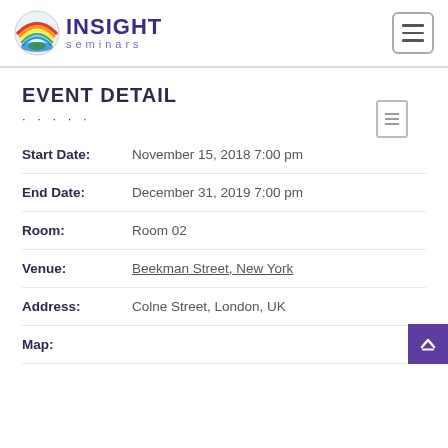INSIGHT seminars
EVENT DETAIL
| Field | Value |
| --- | --- |
| Start Date: | November 15, 2018 7:00 pm |
| End Date: | December 31, 2019 7:00 pm |
| Room: | Room 02 |
| Venue: | Beekman Street, New York |
| Address: | Colne Street, London, UK |
| Map: |  |